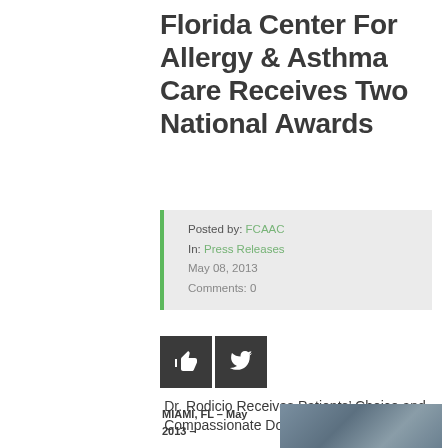Florida Center For Allergy & Asthma Care Receives Two National Awards
Posted by: FCAAC
In: Press Releases
May 08, 2013
Comments: 0
[Figure (other): Social share buttons: thumbs up (like) and Twitter bird icon on dark grey background]
Dr. Rodicio Receives Patients’ Choice and Compassionate Doctor Awards from Vitals
MIAMI, FL – May 2013 –
[Figure (photo): Partial photo of a person, cropped, on a blue-grey background]